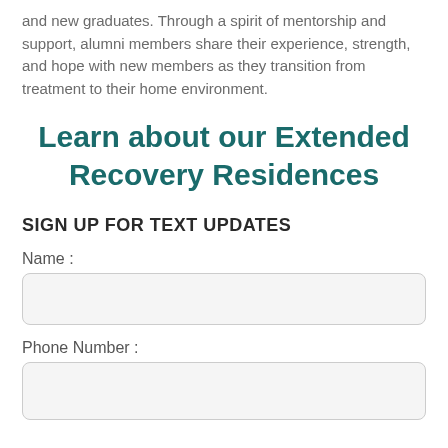and new graduates. Through a spirit of mentorship and support, alumni members share their experience, strength, and hope with new members as they transition from treatment to their home environment.
Learn about our Extended Recovery Residences
SIGN UP FOR TEXT UPDATES
Name :
Phone Number :